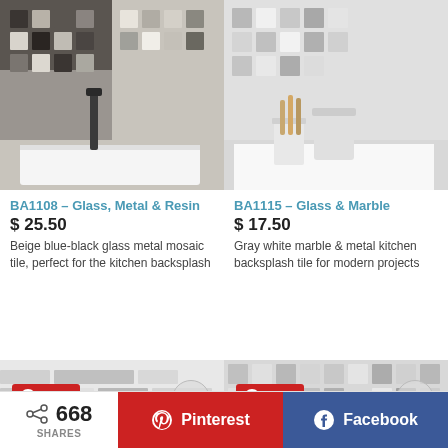[Figure (photo): Close-up of beige blue-black glass metal mosaic tile backsplash with a white sink]
[Figure (photo): Gray white marble mosaic tile backsplash with wooden kitchen utensils and glass jars]
BA1108 – Glass, Metal & Resin
$ 25.50
Beige blue-black glass metal mosaic tile, perfect for the kitchen backsplash
BA1115 – Glass & Marble
$ 17.50
Gray white marble & metal kitchen backsplash tile for modern projects
[Figure (photo): White and light gray rectangular mosaic tile pattern with Save and heart overlay buttons]
[Figure (photo): Gray and white square mosaic tile pattern with Save and heart overlay buttons]
668 SHARES  Pinterest  Facebook